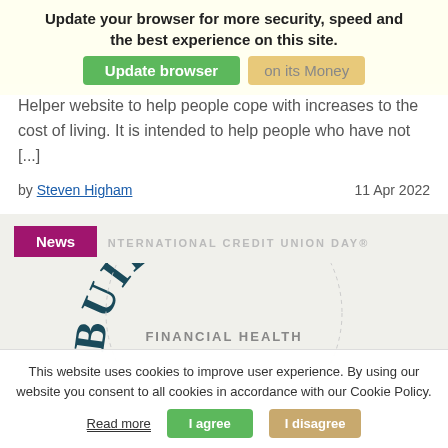[Figure (screenshot): Browser update notification overlay with green 'Update browser' button and tan dismiss button, text reads: 'Update your browser for more security, speed and the best experience on this site.']
Mon... has released ... on its Money Helper website to help people cope with increases to the cost of living. It is intended to help people who have not [...]
by Steven Higham   11 Apr 2022
News
INTERNATIONAL CREDIT UNION DAY®
[Figure (logo): Building Financial Health circular logo text with 'BUILDING' arched text in dark teal and 'FINANCIAL HEALTH' text below]
This website uses cookies to improve user experience. By using our website you consent to all cookies in accordance with our Cookie Policy.
Read more   I agree   I disagree